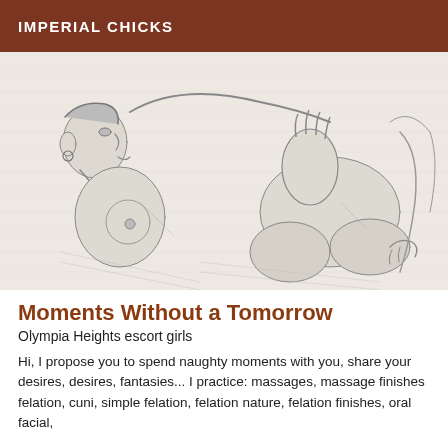IMPERIAL CHICKS
[Figure (illustration): A pencil sketch illustration depicting two figures in an intimate pose, drawn in a classical erotic art style with fine line hatching on a light background.]
Moments Without a Tomorrow
Olympia Heights escort girls
Hi, I propose you to spend naughty moments with you, share your desires, desires, fantasies... I practice: massages, massage finishes felation, cuni, simple felation, felation nature, felation finishes, oral facial,